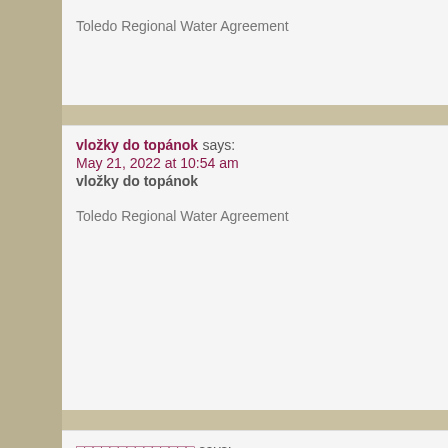Toledo Regional Water Agreement
vložky do topánok says:
May 21, 2022 at 10:54 am
vložky do topánok

Toledo Regional Water Agreement
□□□□□□□□□□□□□□ says:
May 21, 2022 at 11:02 am
□□□□□□□□□□□□□□

Toledo Regional Water Agreement
Mortgage Broker Norwich says:
May 21, 2022 at 2:22 pm
Mortgage Broker Norwich

although sites we backlink to beneath are considerably not associate they are actually worth a go as a result of, so have a look D544